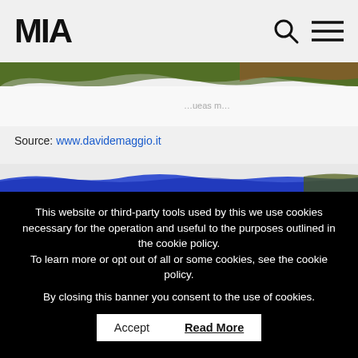MIA
[Figure (photo): Partial landscape image showing green and brown terrain at top, and a blue/white abstract image strip at bottom of the visible area]
Source: www.davidemaggio.it
This website or third-party tools used by this we use cookies necessary for the operation and useful to the purposes outlined in the cookie policy.
To learn more or opt out of all or some cookies, see the cookie policy.

By closing this banner you consent to the use of cookies.
Accept   Read More